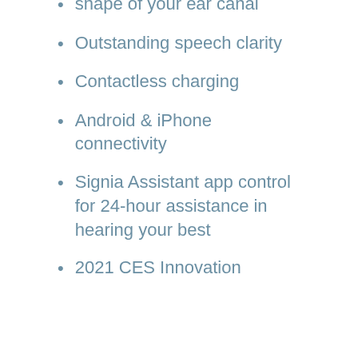shape of your ear canal
Outstanding speech clarity
Contactless charging
Android & iPhone connectivity
Signia Assistant app control for 24-hour assistance in hearing your best
2021 CES Innovation